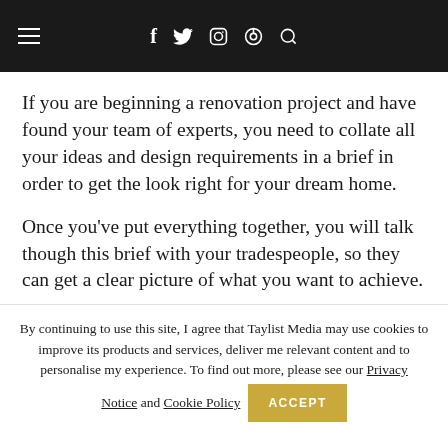Navigation bar with hamburger menu, social icons (f, twitter, instagram, pinterest) and search
If you are beginning a renovation project and have found your team of experts, you need to collate all your ideas and design requirements in a brief in order to get the look right for your dream home.
Once you've put everything together, you will talk though this brief with your tradespeople, so they can get a clear picture of what you want to achieve.
By continuing to use this site, I agree that Taylist Media may use cookies to improve its products and services, deliver me relevant content and to personalise my experience. To find out more, please see our Privacy Notice and Cookie Policy  ACCEPT